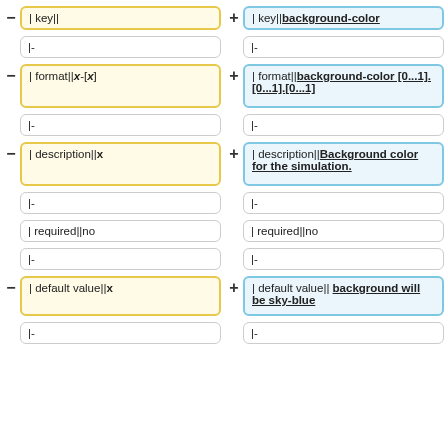- | key||
+ | key||background-color
|-
|-
- | format||x-[x]
+ | format||background-color [0...1].[0...1].[0...1]
|-
|-
- | description||x
+ | description||Background color for the simulation.
|-
|-
| required||no
| required||no
|-
|-
- | default value||x
+ | default value|| background will be sky-blue
|-
|-